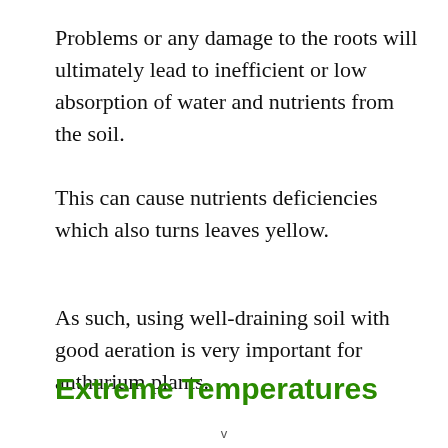Problems or any damage to the roots will ultimately lead to inefficient or low absorption of water and nutrients from the soil.
This can cause nutrients deficiencies which also turns leaves yellow.
As such, using well-draining soil with good aeration is very important for anthurium plants.
Extreme Temperatures
v